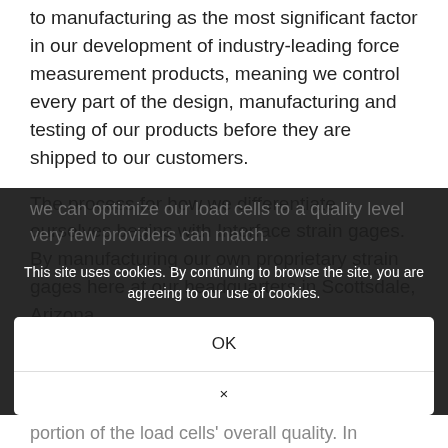to manufacturing as the most significant factor in our development of industry-leading force measurement products, meaning we control every part of the design, manufacturing and testing of our products before they are shipped to our customers.
The process for how we differentiate ourselves begins with Interface strain gages. By manufacturing our own proprietary strain gages here at our headquarters in Scottsdale, Arizona, we can optimize our load cells to a quality level very few providers can match.
This site uses cookies. By continuing to browse the site, you are agreeing to our use of cookies.
OK
×
portion of the load cells' overall quality. In